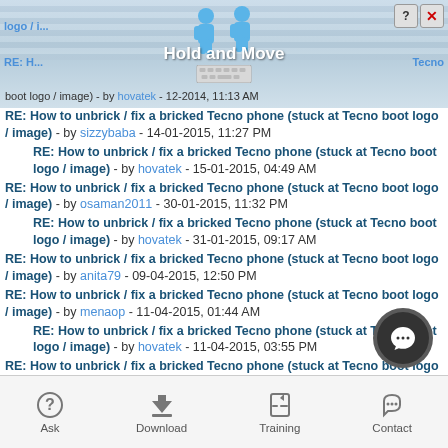[Figure (screenshot): Mobile app screenshot showing a forum thread list with 'Hold and Move' dialog overlay and bottom navigation toolbar]
RE: How to unbrick / fix a bricked Tecno phone (stuck at Tecno boot logo / image) - by hovatek - 12-2014, 11:13 AM
RE: How to unbrick / fix a bricked Tecno phone (stuck at Tecno boot logo / image) - by sizzybaba - 14-01-2015, 11:27 PM
RE: How to unbrick / fix a bricked Tecno phone (stuck at Tecno boot logo / image) - by hovatek - 15-01-2015, 04:49 AM
RE: How to unbrick / fix a bricked Tecno phone (stuck at Tecno boot logo / image) - by osaman2011 - 30-01-2015, 11:32 PM
RE: How to unbrick / fix a bricked Tecno phone (stuck at Tecno boot logo / image) - by hovatek - 31-01-2015, 09:17 AM
RE: How to unbrick / fix a bricked Tecno phone (stuck at Tecno boot logo / image) - by anita79 - 09-04-2015, 12:50 PM
RE: How to unbrick / fix a bricked Tecno phone (stuck at Tecno boot logo / image) - by menaop - 11-04-2015, 01:44 AM
RE: How to unbrick / fix a bricked Tecno phone (stuck at Tecno boot logo / image) - by hovatek - 11-04-2015, 03:55 PM
RE: How to unbrick / fix a bricked Tecno phone (stuck at Tecno boot logo / image) - by ALBA - 15-04-2015, 02:57 PM
RE: How to unbrick / fix a bricked Tecno phone (stuck at Tecno boot logo / image) - (partial)
Ask   Download   Training   Contact